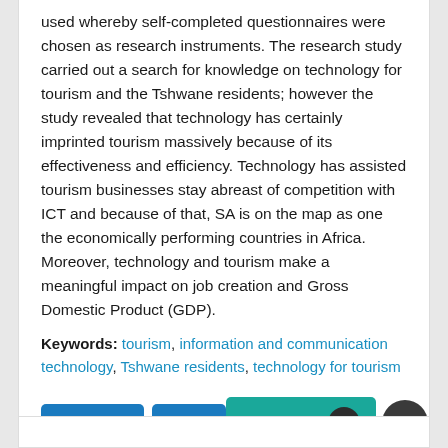used whereby self-completed questionnaires were chosen as research instruments. The research study carried out a search for knowledge on technology for tourism and the Tshwane residents; however the study revealed that technology has certainly imprinted tourism massively because of its effectiveness and efficiency. Technology has assisted tourism businesses stay abreast of competition with ICT and because of that, SA is on the map as one the economically performing countries in Africa. Moreover, technology and tourism make a meaningful impact on job creation and Gross Domestic Product (GDP).
Keywords: tourism, information and communication technology, Tshwane residents, technology for tourism
[Figure (other): Two blue buttons labeled 'Procedia' and 'PDF', a teal 'Downloads' button with badge showing 249, and a dark circular scroll-to-top arrow button]